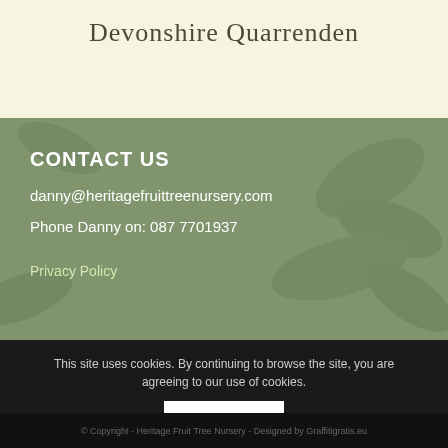Devonshire Quarrenden
CONTACT US
danny@heritagefruittreenursery.com
Phone Danny on: 087 7701937
Privacy Policy
This site uses cookies. By continuing to browse the site, you are agreeing to our use of cookies.
OK
© Copyright - Heritage Fruit Tree Nursery - Designed by Graffitigratis.eu